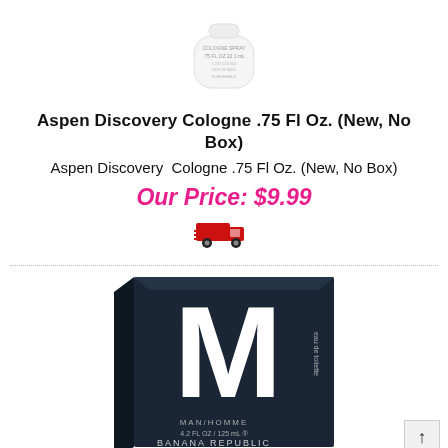[Figure (photo): Small white cologne spray bottle, Aspen Discovery .75 Fl Oz]
Aspen Discovery Cologne .75 Fl Oz. (New, No Box)
Aspen Discovery  Cologne .75 Fl Oz. (New, No Box)
Our Price: $9.99
[Figure (illustration): Red delivery truck icon indicating shipping]
[Figure (photo): Banana Republic M Man/Homme cologne box, dark navy, large M letter, 4.2 FL OZ / 125 mL]